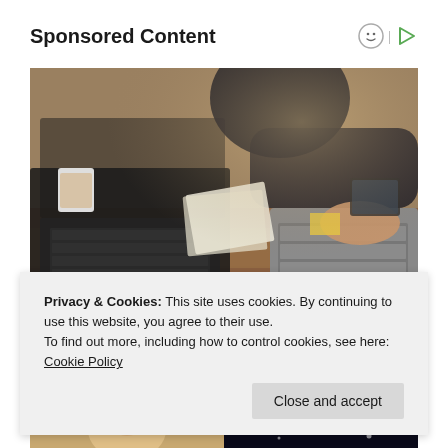Sponsored Content
[Figure (photo): Woman in dark clothing working at a desk with a laptop and a calculator, holding papers; office environment with warm lighting.]
Privacy & Cookies: This site uses cookies. By continuing to use this website, you agree to their use.
To find out more, including how to control cookies, see here: Cookie Policy
[Figure (photo): Two thumbnail images at the bottom: left shows a person with blonde hair, right shows a dark background with light particles.]